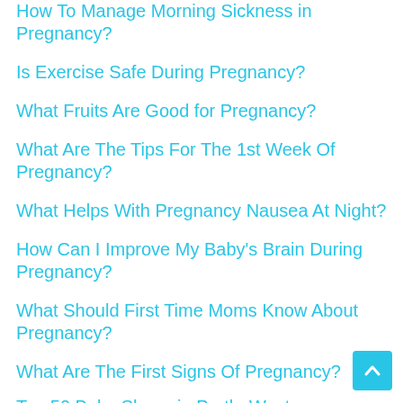How To Manage Morning Sickness in Pregnancy?
Is Exercise Safe During Pregnancy?
What Fruits Are Good for Pregnancy?
What Are The Tips For The 1st Week Of Pregnancy?
What Helps With Pregnancy Nausea At Night?
How Can I Improve My Baby's Brain During Pregnancy?
What Should First Time Moms Know About Pregnancy?
What Are The First Signs Of Pregnancy?
Top 50 Baby Shops in Perth, Western Australia